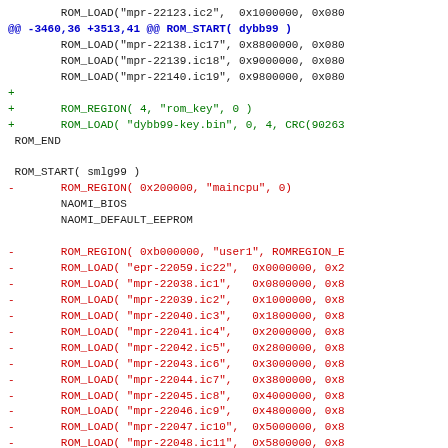[Figure (other): Source code diff showing ROM load entries for arcade game ROMs (MAME diff format). Context lines in black, added lines (+) in green, removed lines (-) in red, diff header in blue/teal.]